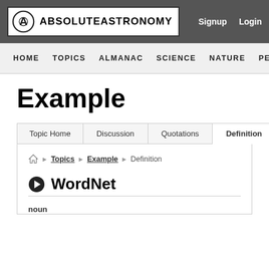ABSOLUTEASTRONOMY | Signup | Login
HOME | TOPICS | ALMANAC | SCIENCE | NATURE | PEOPLE
Example
| Topic Home | Discussion | Quotations | Definition |
| --- | --- | --- | --- |
Home > Topics > Example > Definition
WordNet
noun